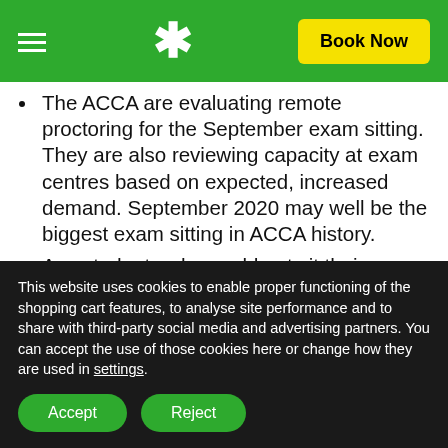* Book Now
The ACCA are evaluating remote proctoring for the September exam sitting. They are also reviewing capacity at exam centres based on expected, increased demand. September 2020 may well be the biggest exam sitting in ACCA history.
Any students who could not sit their exams in June and who would be affected by the seven-
This website uses cookies to enable proper functioning of the shopping cart features, to analyse site performance and to share with third-party social media and advertising partners. You can accept the use of those cookies here or change how they are used in settings.
Accept   Reject